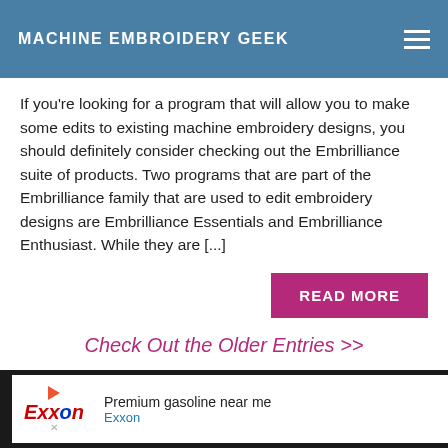MACHINE EMBROIDERY GEEK
If you're looking for a program that will allow you to make some edits to existing machine embroidery designs, you should definitely consider checking out the Embrilliance suite of products. Two programs that are part of the Embrilliance family that are used to edit embroidery designs are Embrilliance Essentials and Embrilliance Enthusiast. While they are [...]
READ MORE
Check Out the Older Entries >>
Premium gasoline near me Exxon